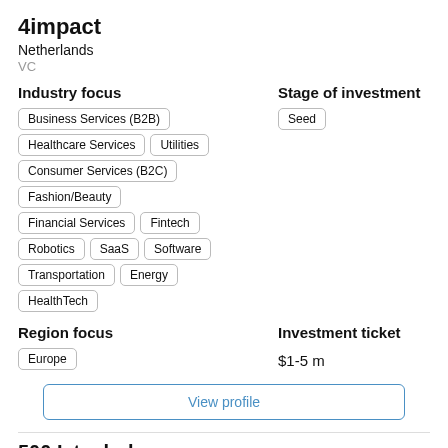4impact
Netherlands
VC
Industry focus
Stage of investment
Business Services (B2B)
Seed
Healthcare Services
Utilities
Consumer Services (B2C)
Fashion/Beauty
Financial Services
Fintech
Robotics
SaaS
Software
Transportation
Energy
HealthTech
Region focus
Investment ticket
Europe
$1-5 m
View profile
500 Istanbul
Turkey